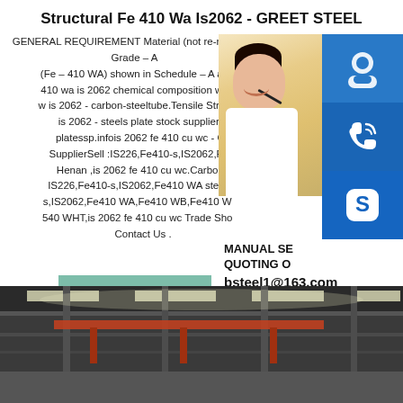Structural Fe 410 Wa Is2062 - GREET STEEL
GENERAL REQUIREMENT Material (not re-rolled) of Grade – A (Fe – 410 WA) shown in Schedule – A abi 410 wa is 2062 chemical composition we w is 2062 - carbon-steeltube.Tensile Stren is 2062 - steels plate stock supplier platessp.infois 2062 fe 410 cu wc - C SupplierSell :IS226,Fe410-s,IS2062,Fe Henan ,is 2062 fe 410 cu wc.Carbo IS226,Fe410-s,IS2062,Fe410 WA steel s,IS2062,Fe410 WA,Fe410 WB,Fe410 W 540 WHT,is 2062 fe 410 cu wc Trade Sho Contact Us .
[Figure (photo): Customer service representative woman with headset, smiling, with blue icon buttons for support, phone/call, and Skype on the right side. Text shows MANUAL SE, QUOTING O, bsteel1@163.com]
[Figure (photo): Interior of a steel factory/warehouse with cranes and industrial lighting]
READ MORE